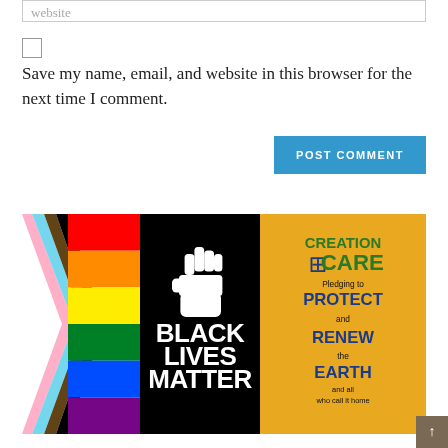website
Save my name, email, and website in this browser for the next time I comment.
POST COMMENT
[Figure (illustration): Three panel image: left panel shows a Progress Pride flag with rainbow stripes and chevron design including black, brown, light blue, pink and white; center panel shows a Black Lives Matter graphic with a raised fist and 'BLACK LIVES MATTER' text on black background; right panel shows a Creation Care pledge graphic on yellow/orange background reading 'CREATION CARE Pledging to PROTECT and RENEW the EARTH and all who call it home' with an Episcopal cross.]